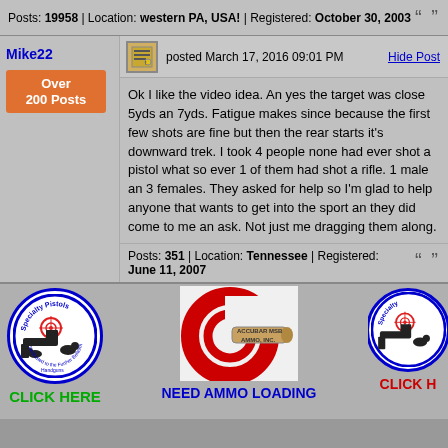Posts: 19958 | Location: western PA, USA! | Registered: October 30, 2003
Mike22
Over 200 Posts
posted March 17, 2016 09:01 PM
Hide Post
Ok I like the video idea. An yes the target was close 5yds an 7yds. Fatigue makes since because the first few shots are fine but then the rear starts it's downward trek. I took 4 people none had ever shot a pistol what so ever 1 of them had shot a rifle. 1 male an 3 females. They asked for help so I'm glad to help anyone that wants to get into the sport an they did come to me an ask. Not just me dragging them along.
Posts: 351 | Location: Tennessee | Registered: June 11, 2007
[Figure (logo): Specialty Pistols circular logo with pistol and target imagery]
CLICK HERE
[Figure (logo): Red target/ammo loading advertisement with bullet imagery and text ACCUBAR MSB AMMO, INC.]
NEED AMMO LOADING
[Figure (logo): Specialty Pistols circular logo (partial, right side)]
CLICK H